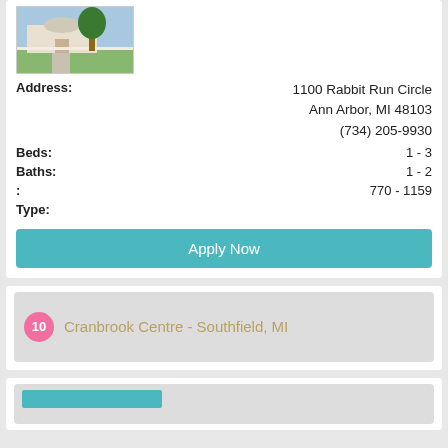[Figure (photo): Exterior photo of a residential property with trees and white fence]
Address: 1100 Rabbit Run Circle Ann Arbor, MI 48103 (734) 205-9930
Beds: 1 - 3
Baths: 1 - 2
: 770 - 1159
Type:
Apply Now
10 Cranbrook Centre - Southfield, MI
[Figure (other): Teal colored bar element at bottom of page]